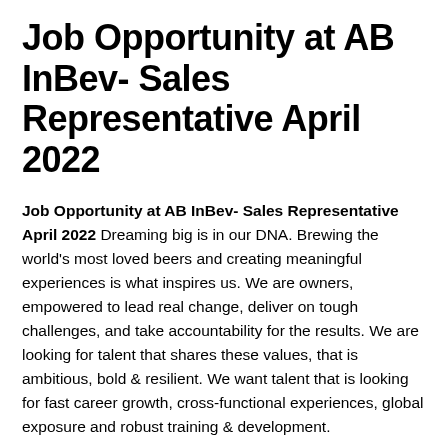Job Opportunity at AB InBev- Sales Representative April 2022
Job Opportunity at AB InBev- Sales Representative April 2022 Dreaming big is in our DNA. Brewing the world's most loved beers and creating meaningful experiences is what inspires us. We are owners, empowered to lead real change, deliver on tough challenges, and take accountability for the results. We are looking for talent that shares these values, that is ambitious, bold & resilient. We want talent that is looking for fast career growth, cross-functional experiences, global exposure and robust training & development.